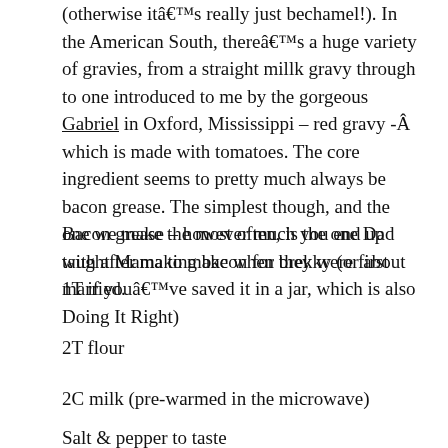(otherwise itâ€™s really just bechamel!). In the American South, thereâ€™s a huge variety of gravies, from a straight millk gravy through to one introduced to me by the gorgeous Gabriel in Oxford, Mississippi – red gravy -Â  which is made with tomatoes. The core ingredient seems to pretty much always be bacon grease. The simplest though, and the one we make the most often, is the one Dad taught Mama to make when they were first married.
Bacon grease – however much you end up with after making bacon for brekky (or about 1T if youâ€™ve saved it in a jar, which is also Doing It Right)
2T flour
2C milk (pre-warmed in the microwave)
Salt & pepper to taste